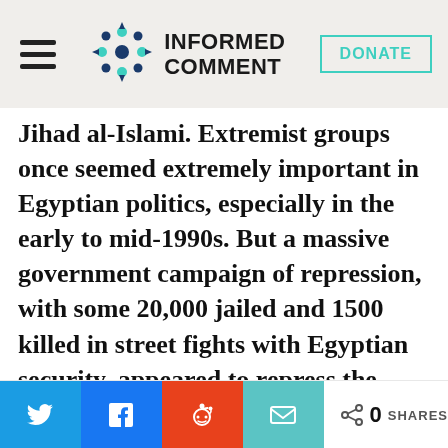INFORMED COMMENT
Jihad al-Islami. Extremist groups once seemed extremely important in Egyptian politics, especially in the early to mid-1990s. But a massive government campaign of repression, with some 20,000 jailed and 1500 killed in street fights with Egyptian security, appeared to repress the movement. Its own excesses also turned Egyptians against it, as with the killing of Spanish tourists at Luxor in 1997 (most Egyptians make some money,
0 SHARES (Twitter, Facebook, Reddit, Email share buttons)